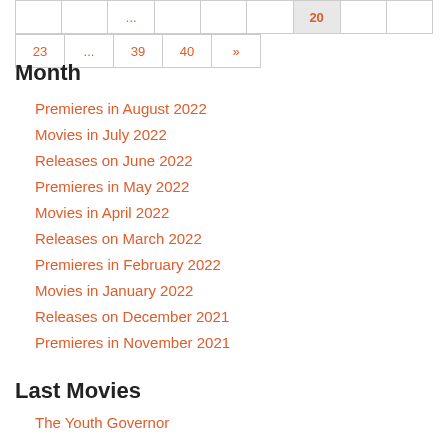|  |  |  | ... |  | 18 | 19 | 20 | 21 | 22 |
| 23 | ... | 39 | 40 | » |
Month
Premieres in August 2022
Movies in July 2022
Releases on June 2022
Premieres in May 2022
Movies in April 2022
Releases on March 2022
Premieres in February 2022
Movies in January 2022
Releases on December 2021
Premieres in November 2021
Last Movies
The Youth Governor